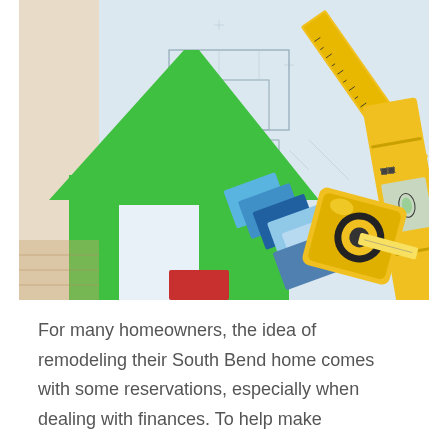[Figure (photo): Photo of home remodeling items: a green house-shaped cutout, blueprint architectural drawings, blue color swatches, a yellow tape measure, and a yellow spirit level, all arranged on a wooden surface.]
For many homeowners, the idea of remodeling their South Bend home comes with some reservations, especially when dealing with finances. To help make